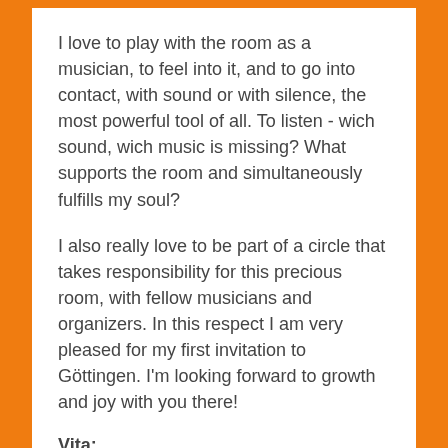I love to play with the room as a musician, to feel into it, and to go into contact, with sound or with silence, the most powerful tool of all. To listen - wich sound, wich music is missing? What supports the room and simultaneously fulfills my soul?
I also really love to be part of a circle that takes responsibility for this precious room, with fellow musicians and organizers. In this respect I am very pleased for my first invitation to Göttingen. I'm looking forward to growth and joy with you there!
Vita:
Born in 1974 in Upper Bavaria and stayed there